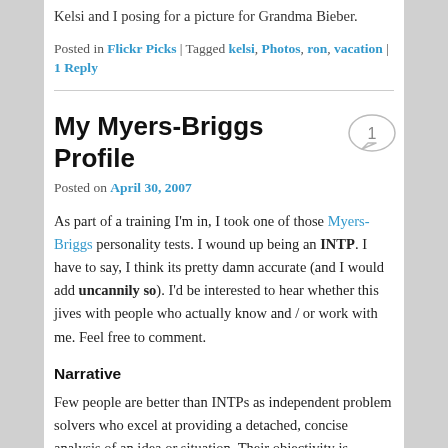Kelsi and I posing for a picture for Grandma Bieber.
Posted in Flickr Picks | Tagged kelsi, Photos, ron, vacation | 1 Reply
My Myers-Briggs Profile
Posted on April 30, 2007
As part of a training I'm in, I took one of those Myers-Briggs personality tests. I wound up being an INTP. I have to say, I think its pretty damn accurate (and I would add uncannily so). I'd be interested to hear whether this jives with people who actually know and / or work with me. Feel free to comment.
Narrative
Few people are better than INTPs as independent problem solvers who excel at providing a detached, concise analysis of an idea or situation. Their objectivity is